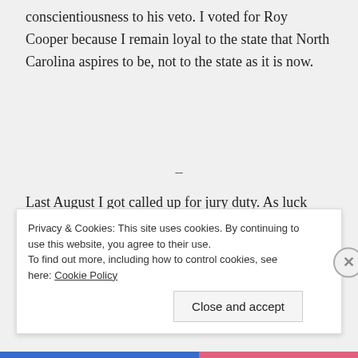conscientiousness to his veto. I voted for Roy Cooper because I remain loyal to the state that North Carolina aspires to be, not to the state as it is now.
–
Last August I got called up for jury duty. As luck would have it, I was seated for a murder trial in the NC Superior Court.
Privacy & Cookies: This site uses cookies. By continuing to use this website, you agree to their use.
To find out more, including how to control cookies, see here: Cookie Policy
Close and accept